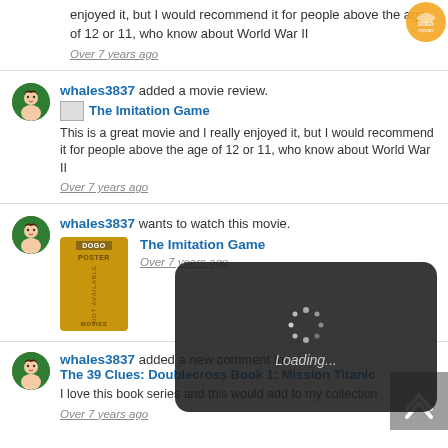enjoyed it, but I would recommend it for people above the age of 12 or 11, who know about World War II
Over 7 years ago
whales3837 added a movie review. The Imitation Game This is a great movie and I really enjoyed it, but I would recommend it for people above the age of 12 or 11, who know about World War II
Over 7 years ago
whales3837 wants to watch this movie. The Imitation Game Over 7 years ago
[Figure (screenshot): Loading overlay with spinner and 'Loading...' text on dark rounded background]
whales3837 added a new comment in The 39 Clues: Doublecross Book 1: Mission Titanic I love this book series and this would add to my collection
Over 7 years ago